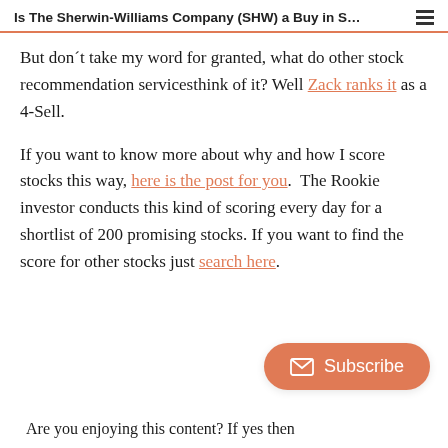Is The Sherwin-Williams Company (SHW) a Buy in S…
But don't take my word for granted, what do other stock recommendation servicesthink of it? Well Zack ranks it as a 4-Sell.
If you want to know more about why and how I score stocks this way, here is the post for you.  The Rookie investor conducts this kind of scoring every day for a shortlist of 200 promising stocks. If you want to find the score for other stocks just search here.
[Figure (other): Orange rounded Subscribe button with envelope icon]
Are you enjoying this content? If yes then